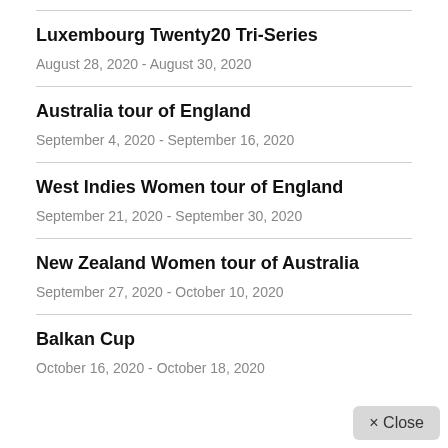Luxembourg Twenty20 Tri-Series
August 28, 2020 - August 30, 2020
Australia tour of England
September 4, 2020 - September 16, 2020
West Indies Women tour of England
September 21, 2020 - September 30, 2020
New Zealand Women tour of Australia
September 27, 2020 - October 10, 2020
Balkan Cup
October 16, 2020 - October 18, 2020